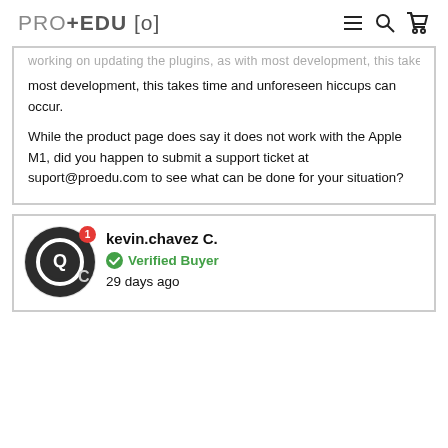PRO+EDU[o]
working on updating the plugins, as with most development, this takes time and unforeseen hiccups can occur.
While the product page does say it does not work with the Apple M1, did you happen to submit a support ticket at suport@proedu.com to see what can be done for your situation?
kevin.chavez C.
Verified Buyer
29 days ago